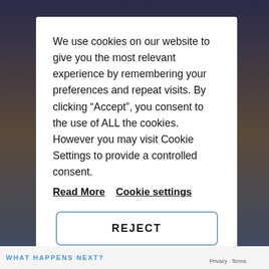We use cookies on our website to give you the most relevant experience by remembering your preferences and repeat visits. By clicking “Accept”, you consent to the use of ALL the cookies. However you may visit Cookie Settings to provide a controlled consent.
Read More   Cookie settings
REJECT
ACCEPT
WHAT HAPPENS NEXT?
Privacy · Terms